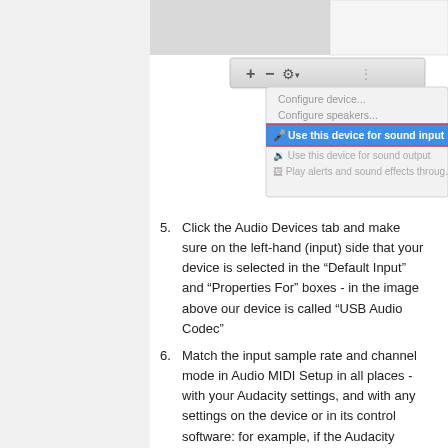[Figure (screenshot): macOS Audio MIDI Setup dropdown menu showing options including 'Configure device...', 'Configure speakers...', 'Use this device for sound input' (highlighted in blue), 'Use this device for sound output', and 'Play alerts and sound effects through'. A toolbar with +, -, gear/settings icon and grip handle is visible.]
Click the Audio Devices tab and make sure on the left-hand (input) side that your device is selected in the "Default Input" and "Properties For" boxes - in the image above our device is called "USB Audio Codec"
Match the input sample rate and channel mode in Audio MIDI Setup in all places - with your Audacity settings, and with any settings on the device or in its control software: for example, if the Audacity Project Rate at bottom left is 44100 Hz and you're recording in